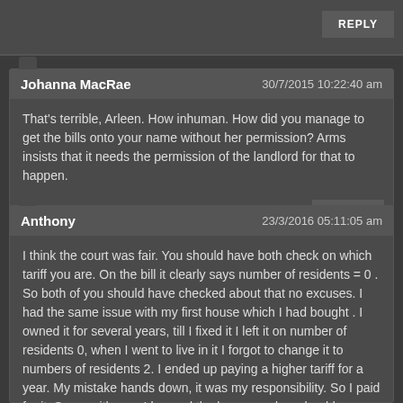REPLY
Johanna MacRae   30/7/2015 10:22:40 am
That's terrible, Arleen. How inhuman. How did you manage to get the bills onto your name without her permission? Arms insists that it needs the permission of the landlord for that to happen.
REPLY
Anthony   23/3/2016 05:11:05 am
I think the court was fair. You should have both check on which tariff you are. On the bill it clearly says number of residents = 0 . So both of you should have checked about that no excuses. I had the same issue with my first house which I had bought . I owned it for several years, till I fixed it I left it on number of residents 0, when I went to live in it I forgot to change it to numbers of residents 2. I ended up paying a higher tariff for a year. My mistake hands down, it was my responsibility. So I paid for it. Same with you. I learned the lesson and so should you.
REPLY